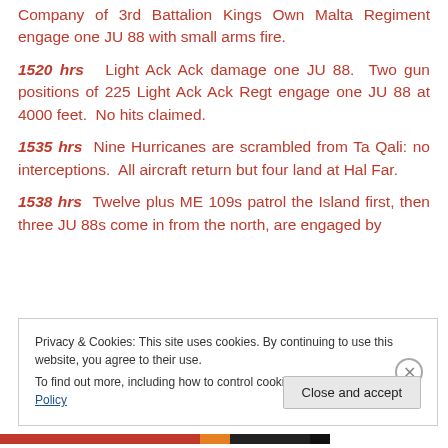Company of 3rd Battalion Kings Own Malta Regiment engage one JU 88 with small arms fire.
1520 hrs  Light Ack Ack damage one JU 88.  Two gun positions of 225 Light Ack Ack Regt engage one JU 88 at 4000 feet.  No hits claimed.
1535 hrs  Nine Hurricanes are scrambled from Ta Qali: no interceptions.  All aircraft return but four land at Hal Far.
1538 hrs  Twelve plus ME 109s patrol the Island first, then three JU 88s come in from the north, are engaged by
Privacy & Cookies: This site uses cookies. By continuing to use this website, you agree to their use.
To find out more, including how to control cookies, see here: Cookie Policy